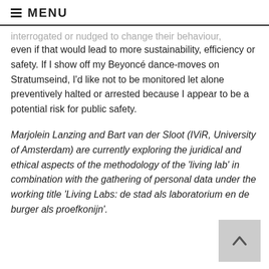MENU
interrogated or nudged to change their behaviour, even if that would lead to more sustainability, efficiency or safety. If I show off my Beyoncé dance-moves on Stratumseind, I'd like not to be monitored let alone preventively halted or arrested because I appear to be a potential risk for public safety.
Marjolein Lanzing and Bart van der Sloot (IViR, University of Amsterdam) are currently exploring the juridical and ethical aspects of the methodology of the 'living lab' in combination with the gathering of personal data under the working title 'Living Labs: de stad als laboratorium en de burger als proefkonijn'.